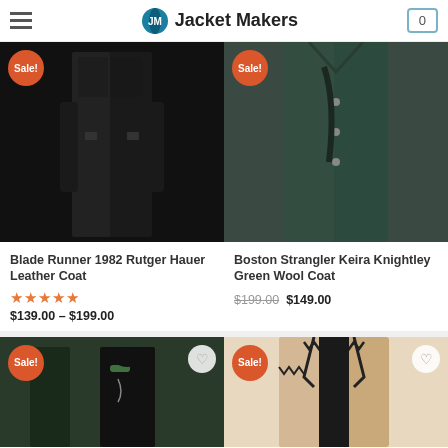Jacket Makers — Navigation header with logo and cart
[Figure (photo): Blade Runner 1982 black leather long coat product image with Sale badge]
Blade Runner 1982 Rutger Hauer Leather Coat
★★★★★ $139.00 – $199.00
[Figure (photo): Boston Strangler Keira Knightley Green Wool Coat product image with Sale badge]
Boston Strangler Keira Knightley Green Wool Coat
$199.00 $149.00
[Figure (photo): Matrix-style black leather jacket product image with Sale badge]
[Figure (photo): Camel wool coat with black trim product image with Sale badge]